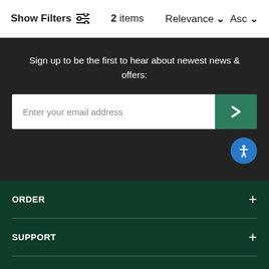Show Filters  2 items  Relevance ∨ Asc ∨
Sign up to be the first to hear about newest news & offers:
[Figure (screenshot): Email subscription input field with placeholder 'Enter your email address' and a green submit button with a right-arrow chevron]
ORDER
SUPPORT
RESOURCE
LEARN